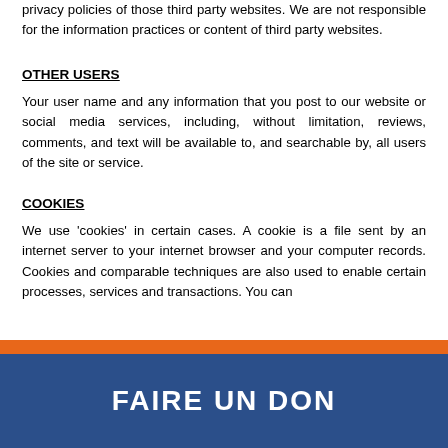privacy policies of those third party websites. We are not responsible for the information practices or content of third party websites.
OTHER USERS
Your user name and any information that you post to our website or social media services, including, without limitation, reviews, comments, and text will be available to, and searchable by, all users of the site or service.
COOKIES
We use 'cookies' in certain cases. A cookie is a file sent by an internet server to your internet browser and your computer records. Cookies and comparable techniques are also used to enable certain processes, services and transactions. You can
FAIRE UN DON